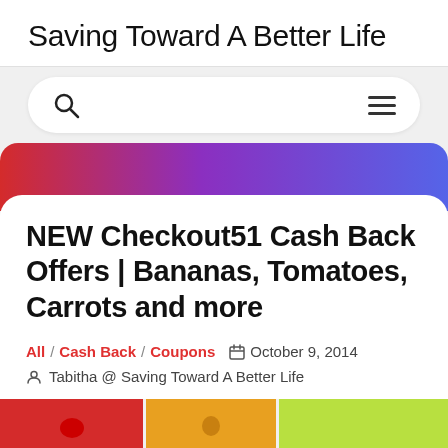Saving Toward A Better Life
[Figure (screenshot): Navigation bar with search icon on left and hamburger menu on right]
[Figure (other): Gradient banner strip transitioning from red to purple to blue]
NEW Checkout51 Cash Back Offers | Bananas, Tomatoes, Carrots and more
All / Cash Back / Coupons  October 9, 2014  Tabitha @ Saving Toward A Better Life
[Figure (photo): Partial image strip at bottom showing three colored blocks: red, yellow, and green]